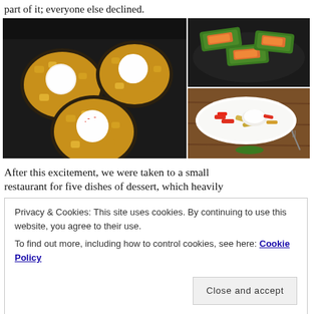part of it; everyone else declined.
[Figure (photo): Three white square bowls each containing a scoop of white ice cream surrounded by yellow/orange fruit chunks, set on a dark tray]
[Figure (photo): Green banana leaf wrapped food packages with orange filling on a dark plate]
[Figure (photo): White oval plate with colorful dessert including red strawberries, cream, and other fruits on a wooden surface]
After this excitement, we were taken to a small
restaurant for five dishes of dessert, which heavily
Privacy & Cookies: This site uses cookies. By continuing to use this website, you agree to their use.
To find out more, including how to control cookies, see here: Cookie Policy
Close and accept